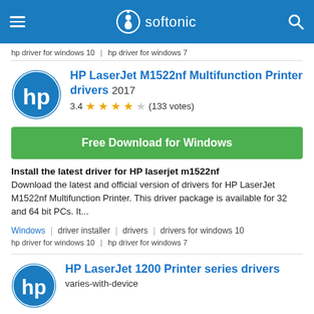softonic
hp driver for windows 10 | hp driver for windows 7
HP LaserJet M1522nf Multifunction Printer drivers 2017
3.4 ★★★☆☆ (133 votes)
Free Download for Windows
Install the latest driver for HP laserjet m1522nf
Download the latest and official version of drivers for HP LaserJet M1522nf Multifunction Printer. This driver package is available for 32 and 64 bit PCs. It...
Windows | driver installer | drivers | drivers for windows 10
hp driver for windows 10 | hp driver for windows 7
HP LaserJet 1200 Printer series drivers varies-with-device